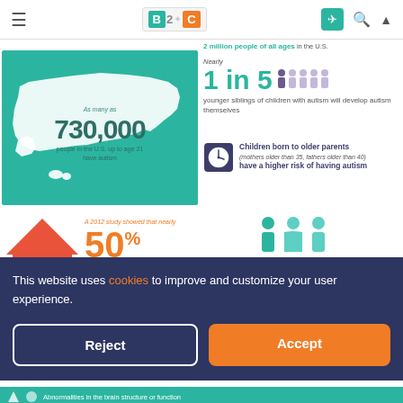B2C navigation bar with logo, send, search, and up icons
[Figure (infographic): Map of USA on teal background showing 730,000 people in the U.S. up to age 21 have autism]
As many as 730,000 people in the U.S. up to age 21 have autism
Nearly 1 in 5 younger siblings of children with autism will develop autism themselves
[Figure (infographic): Clock icon next to text: Children born to older parents (mothers older than 35, fathers older than 40) have a higher risk of having autism]
Children born to older parents (mothers older than 35, fathers older than 40) have a higher risk of having autism
[Figure (infographic): A 2012 study showed that nearly 50% of parents with a child who has autism spectrum disorder reported that their child had tried to leave (wander from) a safe place at least once]
A 2012 study showed that nearly 50% of parents with a child who has autism spectrum disorder reported that their child had tried to leave (wander from) a safe place at least once
[Figure (infographic): Three person icons. As many as 1/3 of people with autism spectrum disorder also have epilepsy]
As many as 1/3 of people with autism spectrum disorder also have epilepsy
Abnormalities in the brain structure or function
This website uses cookies to improve and customize your user experience.